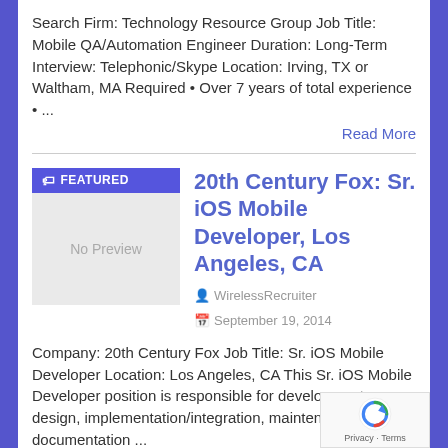Search Firm: Technology Resource Group Job Title: Mobile QA/Automation Engineer Duration: Long-Term Interview: Telephonic/Skype Location: Irving, TX or Waltham, MA Required • Over 7 years of total experience • ...
Read More
[Figure (other): Featured job listing thumbnail with 'FEATURED' badge and 'No Preview' placeholder image]
20th Century Fox: Sr. iOS Mobile Developer, Los Angeles, CA
WirelessRecruiter   September 19, 2014
Company: 20th Century Fox Job Title: Sr. iOS Mobile Developer Location: Los Angeles, CA This Sr. iOS Mobile Developer position is responsible for development, design, implementation/integration, maintenance and documentation ...
Read More